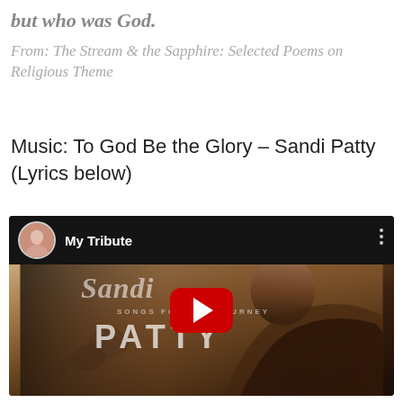but who was God.
From: The Stream & the Sapphire: Selected Poems on Religious Theme
Music: To God Be the Glory – Sandi Patty
(Lyrics below)
[Figure (screenshot): YouTube video thumbnail for 'My Tribute' by Sandi Patty, showing a YouTube player interface with the album cover 'Songs for the Journey – PATTY' in the background, featuring a woman in dark clothing. A red play button is centered on the video.]